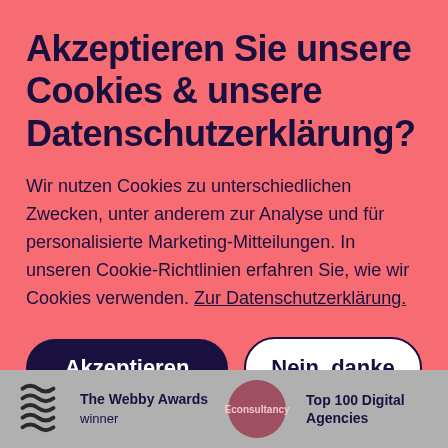Akzeptieren Sie unsere Cookies & unsere Datenschutzerklärung?
Wir nutzen Cookies zu unterschiedlichen Zwecken, unter anderem zur Analyse und für personalisierte Marketing-Mitteilungen. In unseren Cookie-Richtlinien erfahren Sie, wie wir Cookies verwenden. Zur Datenschutzerklärung.
Akzeptieren
Nein, danke
[Figure (logo): Stylized wavy lines logo icon in dark color]
The Webby Awards winner
[Figure (logo): Econsultancy circular badge/logo in mauve/dark pink]
Top 100 Digital Agencies